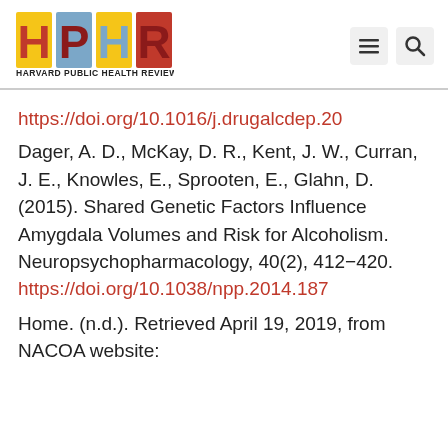[Figure (logo): Harvard Public Health Review (HPHR) logo with colorful block letters and subtitle text]
https://doi.org/10.1016/j.drugalcdep.20
Dager, A. D., McKay, D. R., Kent, J. W., Curran, J. E., Knowles, E., Sprooten, E., Glahn, D. (2015). Shared Genetic Factors Influence Amygdala Volumes and Risk for Alcoholism. Neuropsychopharmacology, 40(2), 412−420.
https://doi.org/10.1038/npp.2014.187
Home. (n.d.). Retrieved April 19, 2019, from NACOA website: